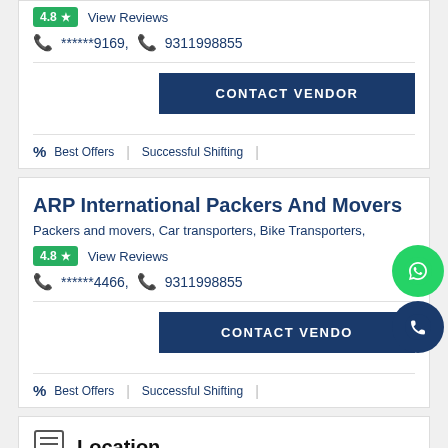4.8 ★ View Reviews
📞 ******9169, 📞 9311998855
CONTACT VENDOR
% Best Offers | Successful Shifting
ARP International Packers And Movers
Packers and movers, Car transporters, Bike Transporters,
4.8 ★ View Reviews
📞 ******4466, 📞 9311998855
CONTACT VENDOR
% Best Offers | Successful Shifting
Location
No Record Found